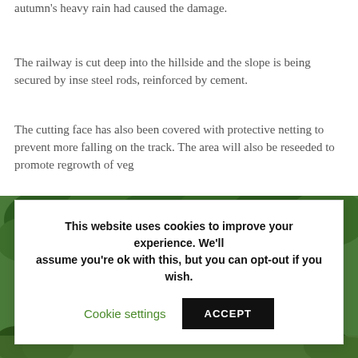autumn's heavy rain had caused the damage.
The railway is cut deep into the hillside and the slope is being secured by inserting steel rods, reinforced by cement.
The cutting face has also been covered with protective netting to prevent more falling on the track. The area will also be reseeded to promote regrowth of veg
[Figure (photo): Aerial view of a railway hillside engineering works site showing green protective netting on slopes, construction vehicles, fencing, and a ruined castle structure in the background, surrounded by woodland.]
This website uses cookies to improve your experience. We'll assume you're ok with this, but you can opt-out if you wish.
Cookie settings  ACCEPT